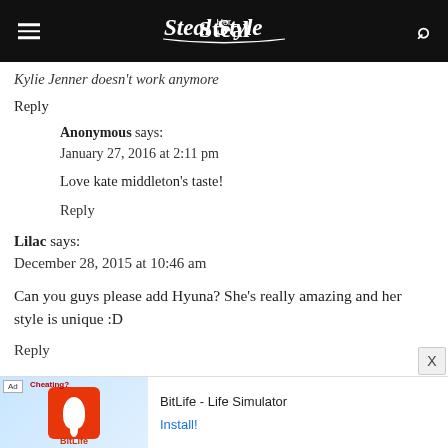Steal Her Style
Kylie Jenner doesn't work anymore
Reply
Anonymous says:
January 27, 2016 at 2:11 pm
Love kate middleton's taste!
Reply
Lilac says:
December 28, 2015 at 10:46 am
Can you guys please add Hyuna? She's really amazing and her style is unique :D
Reply
[Figure (screenshot): Ad banner for BitLife - Life Simulator with install button]